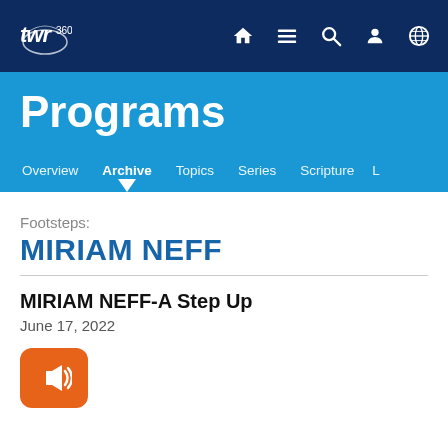TWR 360 navigation bar with home, menu, search, profile, and language icons
Programs
Overview  Archive  Topics  Series  Scripture  L
Footsteps:
MIRIAM NEFF
MIRIAM NEFF-A Step Up
June 17, 2022
[Figure (other): Orange play/audio button icon]